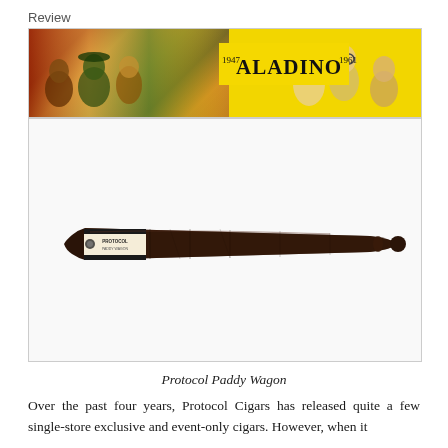Review
[Figure (photo): Top banner showing the Aladino cigar brand label (1947 Aladino 1961) on a yellow background with illustrated crowd scene artwork. Below it, a photo of a single dark-wrapped cigar (Protocol Paddy Wagon) with a cream and black band, displayed against a white background.]
Protocol Paddy Wagon
Over the past four years, Protocol Cigars has released quite a few single-store exclusive and event-only cigars. However, when it